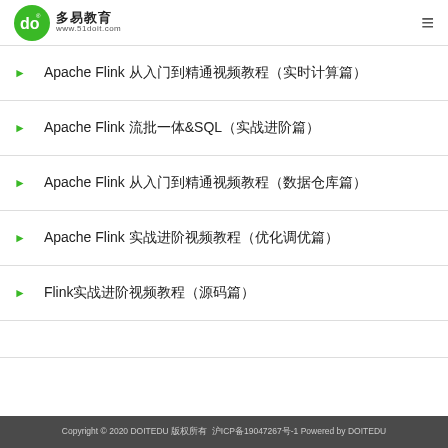多易教育 www.51doit.com
Apache Flink 从入门到精通视频教程（实时计算篇）
Apache Flink 流批一体&SQL（实战进阶篇）
Apache Flink 从入门到精通视频教程（数据仓库篇）
Apache Flink 实战进阶视频教程（优化调优篇）
Flink实战进阶视频教程（源码篇）
Copyright © 2020 DOITEDU 版权所有 沪ICP备19047267号-1 Powered by DOITEDU